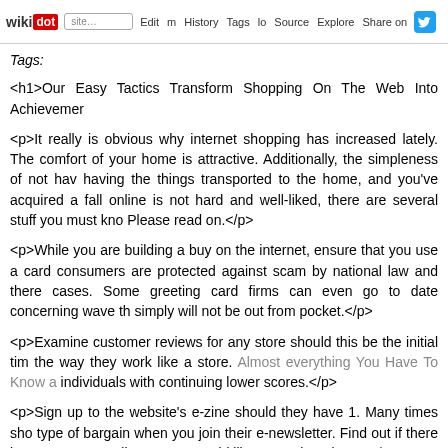wikidot | site | Edit | History | Tags | Source | Explore | Share on [twitter]
Tags:
<h1>Our Easy Tactics Transform Shopping On The Web Into Achievemer
<p>It really is obvious why internet shopping has increased lately. The comfort of your home is attractive. Additionally, the simpleness of not having the things transported to the home, and you've acquired a fall online is not hard and well-liked, there are several stuff you must know. Please read on.</p>
<p>While you are building a buy on the internet, ensure that you use a card consumers are protected against scam by national law and there cases. Some greeting card firms can even go to date concerning wave the simply will not be out from pocket.</p>
<p>Examine customer reviews for any store should this be the initial time the way they work like a store. Almost everything You Have To Know a individuals with continuing lower scores.</p>
<p>Sign up to the website's e-zine should they have 1. Many times sho type of bargain when you join their e-newsletter. Find out if there is a pa at any retail store you would like to go shopping at.</p>
<p>Never ever wire any person cash to produce a purchase online. It is a lot by men and women looking to swindle you away from your money. En can lodge a question when your product is never acquired. Wires the m </p>
<p>The very best and most secure settlement approach to use when you